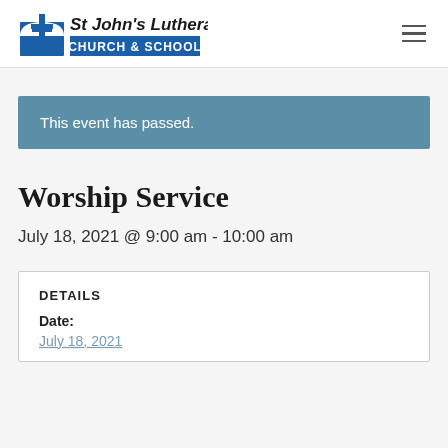[Figure (logo): St John's Lutheran Church & School logo with cross icon and blue banner]
This event has passed.
Worship Service
July 18, 2021 @ 9:00 am - 10:00 am
DETAILS
Date:
July 18, 2021